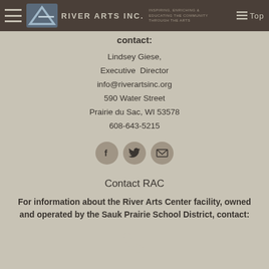River Arts Inc. — Inspiring, Enriching & Educating the Community Through the Arts
contact:
Lindsey Giese,
Executive Director
info@riverartsinc.org
590 Water Street
Prairie du Sac, WI 53578
608-643-5215
[Figure (infographic): Three circular social media icons: Facebook (f), Twitter (bird), and email (envelope)]
Contact RAC
For information about the River Arts Center facility, owned and operated by the Sauk Prairie School District, contact:
[Figure (infographic): Phone icon]